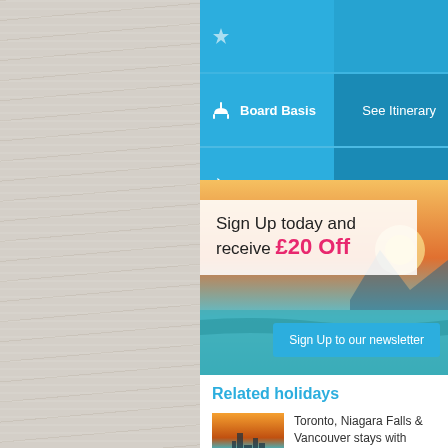|  | Label | Value |
| --- | --- | --- |
| 🍴 | Board Basis | See Itinerary |
| ✈ | Flights | Included |
| 🚗 | Transfers | See Itinerary |
[Figure (photo): Sunset over water with mountains, promotional travel banner]
Sign Up today and receive £20 Off
Sign Up to our newsletter
Related holidays
[Figure (photo): Toronto skyline at sunset over water]
Toronto, Niagara Falls & Vancouver stays with Hawaii Cruise